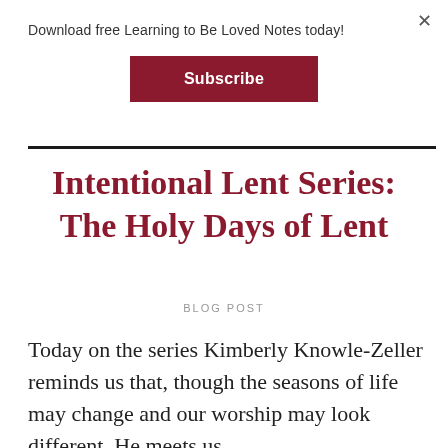Download free Learning to Be Loved Notes today!
Subscribe
Intentional Lent Series: The Holy Days of Lent
BLOG POST
Today on the series Kimberly Knowle-Zeller reminds us that, though the seasons of life may change and our worship may look different, He meets us